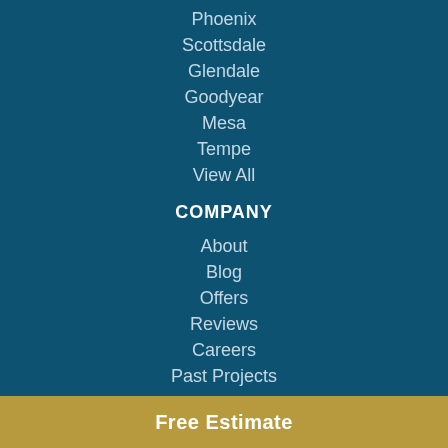Phoenix
Scottsdale
Glendale
Goodyear
Mesa
Tempe
View All
COMPANY
About
Blog
Offers
Reviews
Careers
Past Projects
HELP
Contact
Warranty
Financing
Free Estimate